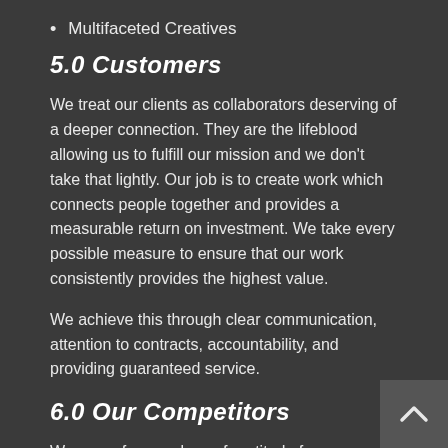Multifaceted Creatives
5.0 Customers
We treat our clients as collaborators deserving of a deeper connection. They are the lifeblood allowing us to fulfill our mission and we don't take that lightly. Our job is to create work which connects people together and provides a measurable return on investment. We take every possible measure to ensure that our work consistently provides the highest value.
We achieve this through clear communication, attention to contracts, accountability, and providing guaranteed service.
6.0 Our Competitors
We come from a place of gratitude for our competitors. We would not be here if it were not for